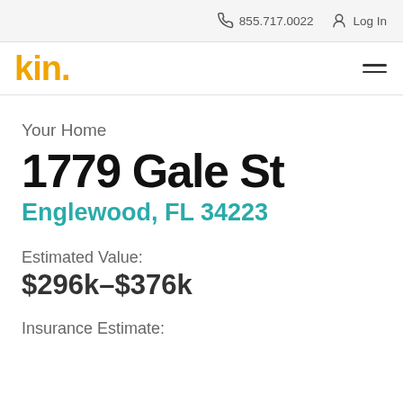855.717.0022  Log In
[Figure (logo): Kin insurance logo — 'kin.' in bold orange/yellow text]
Your Home
1779 Gale St
Englewood, FL 34223
Estimated Value:
$296k–$376k
Insurance Estimate: